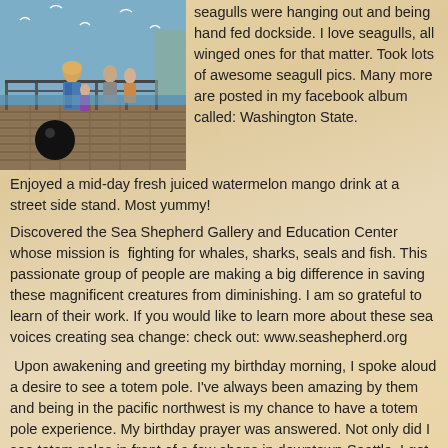[Figure (photo): People on a wooden dock/pier by the water with seagulls flying overhead. A woman with blonde hair is visible from behind, and other people are on the pier with water and a structure visible in the background.]
seagulls were hanging out and being hand fed dockside.  I love seagulls, all winged ones for that matter. Took lots of awesome seagull pics. Many more are posted in my facebook album called: Washington State.
Enjoyed a mid-day fresh juiced watermelon mango drink at a street side stand.  Most yummy!
Discovered the Sea Shepherd Gallery and Education Center whose mission is  fighting for whales, sharks, seals and fish. This passionate group of people are making a big difference in saving these magnificent creatures from diminishing.  I am so grateful to learn of their work. If you would like to learn more about these sea voices creating sea change: check out: www.seashepherd.org
Upon awakening and greeting my birthday morning, I spoke aloud a desire to see a totem pole.  I've always been amazing by them and being in the pacific northwest is my chance to have a totem pole experience. My birthday prayer was answered.  Not only did I see totem poles in front of a few shops in downtown Seattle, I got to meet a master totem carver.